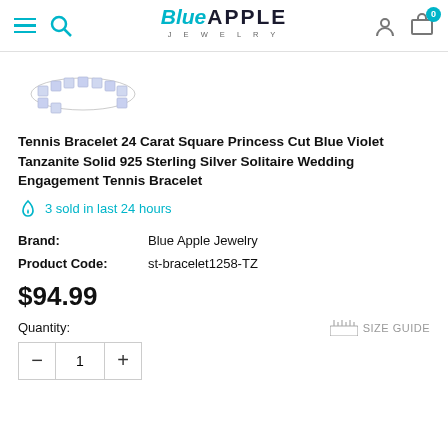Blue Apple Jewelry - navigation header with hamburger menu, search, logo, user icon, and cart (0)
[Figure (photo): Small thumbnail image of a tennis bracelet with blue/violet stones in silver setting, viewed from above at an angle]
Tennis Bracelet 24 Carat Square Princess Cut Blue Violet Tanzanite Solid 925 Sterling Silver Solitaire Wedding Engagement Tennis Bracelet
3 sold in last 24 hours
| Brand: | Blue Apple Jewelry |
| Product Code: | st-bracelet1258-TZ |
$94.99
Quantity:
SIZE GUIDE